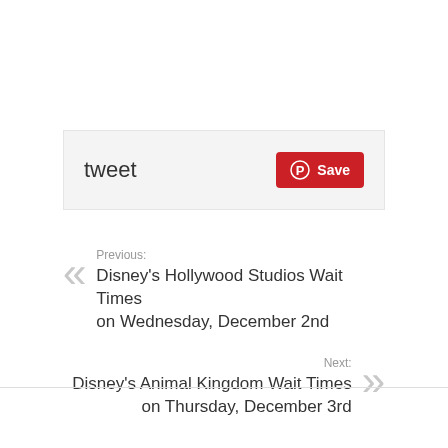tweet
[Figure (other): Pinterest Save button with Pinterest logo icon on red background]
Previous:
Disney's Hollywood Studios Wait Times on Wednesday, December 2nd
Next:
Disney's Animal Kingdom Wait Times on Thursday, December 3rd